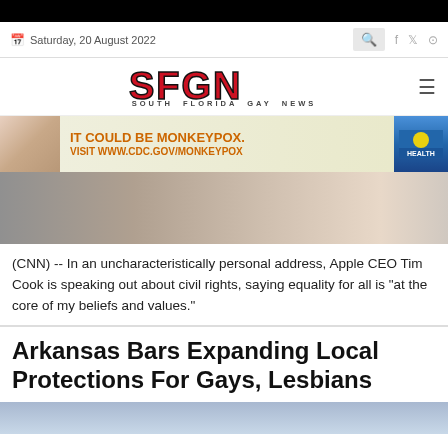Saturday, 20 August 2022
[Figure (logo): SFGN South Florida Gay News logo with stylized bold red and black letters]
[Figure (infographic): Public health ad banner: IT COULD BE MONKEYPOX. VISIT WWW.CDC.GOV/MONKEYPOX with Florida Health logo]
[Figure (photo): Close-up photo of a person's neck and chin area, wearing a white shirt]
(CNN) -- In an uncharacteristically personal address, Apple CEO Tim Cook is speaking out about civil rights, saying equality for all is "at the core of my beliefs and values."
Arkansas Bars Expanding Local Protections For Gays, Lesbians
[Figure (photo): Partial photo at bottom of page, light blue tones]